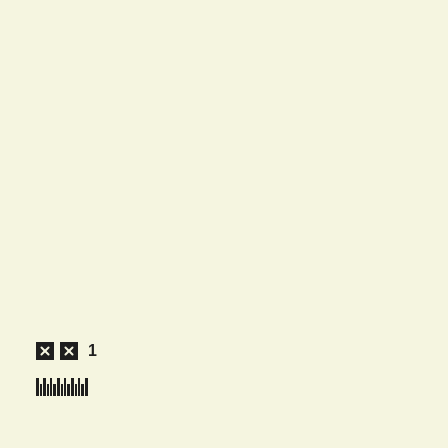☒ ☒ 1
[Figure (other): Barcode-like pattern of vertical bars at the bottom of the page]